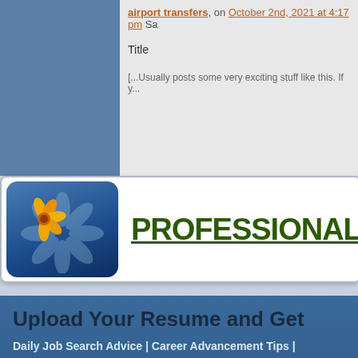airport transfers, on October 2nd, 2021 at 4:17 pm Sa
Title
[...Usually posts some very exciting stuff like this. If y...
PROFESSIONAL ADVI
Upload Your Resume and Get
Daily Job Search Advice | Career Advancement Tips | Informative Articles on Life Lessons And much more...
Email Address
Upload Resume   Choose File   No file chosen